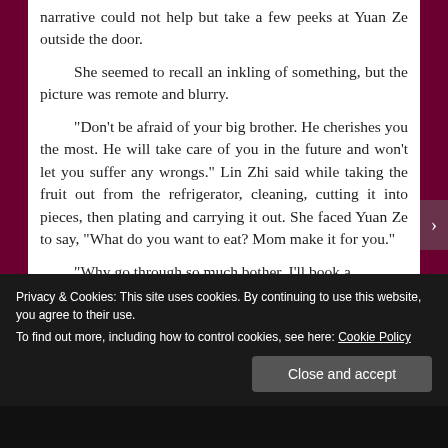narrative could not help but take a few peeks at Yuan Ze outside the door.
She seemed to recall an inkling of something, but the picture was remote and blurry.
"Don't be afraid of your big brother. He cherishes you the most. He will take care of you in the future and won't let you suffer any wrongs." Lin Zhi said while taking the fruit out from the refrigerator, cleaning, cutting it into pieces, then plating and carrying it out. She faced Yuan Ze to say, "What do you want to eat? Mom make it for you."
"Why go through so much bother, I'll book a
Privacy & Cookies: This site uses cookies. By continuing to use this website, you agree to their use.
To find out more, including how to control cookies, see here: Cookie Policy